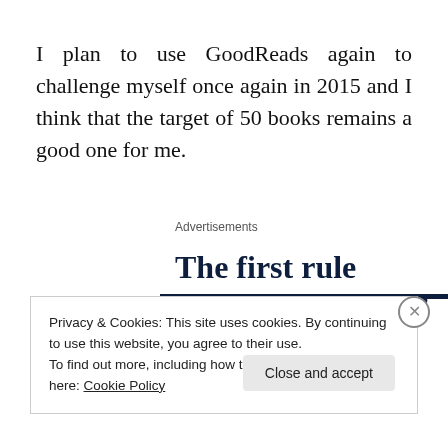I plan to use GoodReads again to challenge myself once again in 2015 and I think that the target of 50 books remains a good one for me.
Advertisements
[Figure (other): Advertisement banner with bold text: 'The first rule of Startup School?']
Privacy & Cookies: This site uses cookies. By continuing to use this website, you agree to their use.
To find out more, including how to control cookies, see here: Cookie Policy
Close and accept